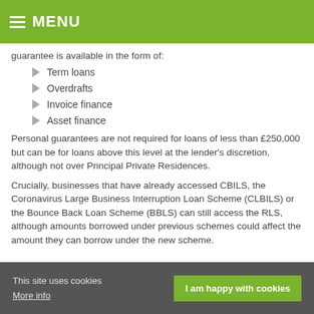MENU
guarantee is available in the form of:
Term loans
Overdrafts
Invoice finance
Asset finance
Personal guarantees are not required for loans of less than £250,000 but can be for loans above this level at the lender's discretion, although not over Principal Private Residences.
Crucially, businesses that have already accessed CBILS, the Coronavirus Large Business Interruption Loan Scheme (CLBILS) or the Bounce Back Loan Scheme (BBLS) can still access the RLS, although amounts borrowed under previous schemes could affect the amount they can borrow under the new scheme.
This site uses cookies More info  I am happy with cookies